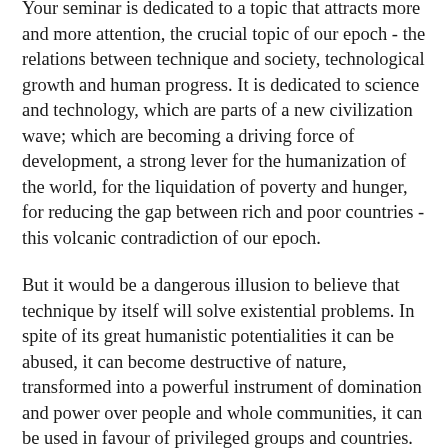Your seminar is dedicated to a topic that attracts more and more attention, the crucial topic of our epoch - the relations between technique and society, technological growth and human progress. It is dedicated to science and technology, which are parts of a new civilization wave; which are becoming a driving force of development, a strong lever for the humanization of the world, for the liquidation of poverty and hunger, for reducing the gap between rich and poor countries - this volcanic contradiction of our epoch.
But it would be a dangerous illusion to believe that technique by itself will solve existential problems. In spite of its great humanistic potentialities it can be abused, it can become destructive of nature, transformed into a powerful instrument of domination and power over people and whole communities, it can be used in favour of privileged groups and countries.
Technological growth will provide human progress not if it is stopped, but if it is connected with humanistic aims. It is necessary that every country develop its own creativity and not merely